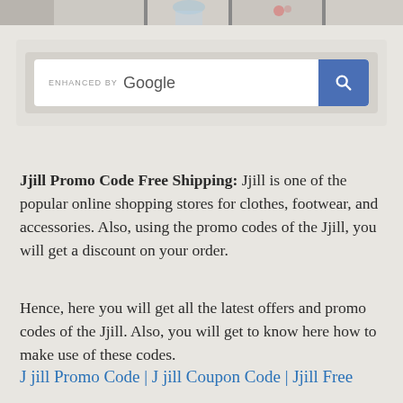[Figure (photo): Partial view of lifestyle/clothing image strip at top of page]
[Figure (screenshot): Google enhanced search box with blue search button]
Jjill Promo Code Free Shipping: Jjill is one of the popular online shopping stores for clothes, footwear, and accessories. Also, using the promo codes of the Jjill, you will get a discount on your order.
Hence, here you will get all the latest offers and promo codes of the Jjill. Also, you will get to know here how to make use of these codes.
J jill Promo Code | J jill Coupon Code | Jjill Free